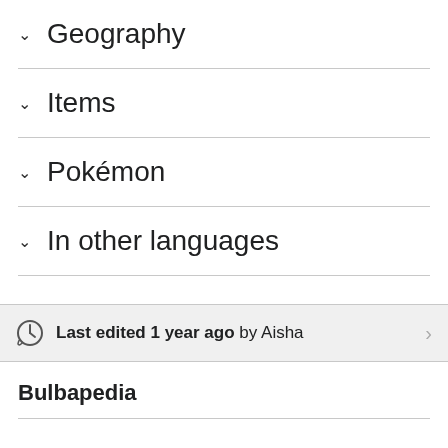Geography
Items
Pokémon
In other languages
Last edited 1 year ago by Aisha
Bulbapedia